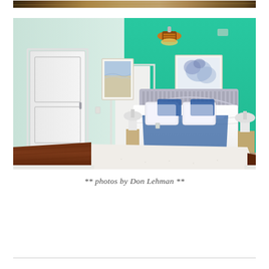[Figure (photo): Partial view of another room photo cropped at top of page, showing warm wood tones]
[Figure (photo): Interior bedroom photo with teal/turquoise accent wall, white door on left, queen bed with white bedding and blue runner, hardwood floors, white area rug, two framed coastal artworks, pendant light fixture on ceiling, two nightstands with lamps]
** photos by Don Lehman **